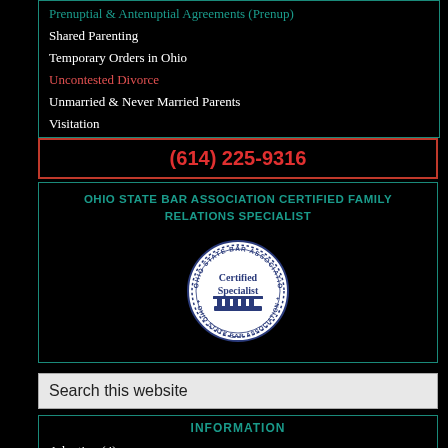Prenuptial & Antenuptial Agreements (Prenup)
Shared Parenting
Temporary Orders in Ohio
Uncontested Divorce
Unmarried & Never Married Parents
Visitation
(614) 225-9316
OHIO STATE BAR ASSOCIATION CERTIFIED FAMILY RELATIONS SPECIALIST
[Figure (logo): Ohio State Bar Association Certified Specialist badge/seal — circular blue seal with columns and 'Certified Specialist' text]
Search this website
INFORMATION
Adoption (4)